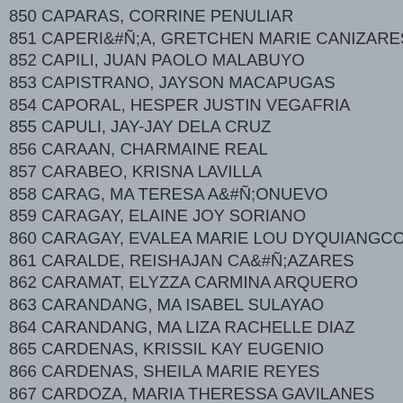850 CAPARAS, CORRINE PENULIAR
851 CAPERIÑA, GRETCHEN MARIE CANIZARES
852 CAPILI, JUAN PAOLO MALABUYO
853 CAPISTRANO, JAYSON MACAPUGAS
854 CAPORAL, HESPER JUSTIN VEGAFRIA
855 CAPULI, JAY-JAY DELA CRUZ
856 CARAAN, CHARMAINE REAL
857 CARABEO, KRISNA LAVILLA
858 CARAG, MA TERESA AÑONUEVO
859 CARAGAY, ELAINE JOY SORIANO
860 CARAGAY, EVALEA MARIE LOU DYQUIANGCO
861 CARALDE, REISHAJAN CAÑAZARES
862 CARAMAT, ELYZZA CARMINA ARQUERO
863 CARANDANG, MA ISABEL SULAYAO
864 CARANDANG, MA LIZA RACHELLE DIAZ
865 CARDENAS, KRISSIL KAY EUGENIO
866 CARDENAS, SHEILA MARIE REYES
867 CARDOZA, MARIA THERESSA GAVILANES
868 CARIAGA, KHRISNALEEN PASCUA
869 CARIASO, MAYBELLE MAITIM
870 CARIGA, MA VISITACION MATIAS
871 CARILLO, SHEILA MARIE BORRE